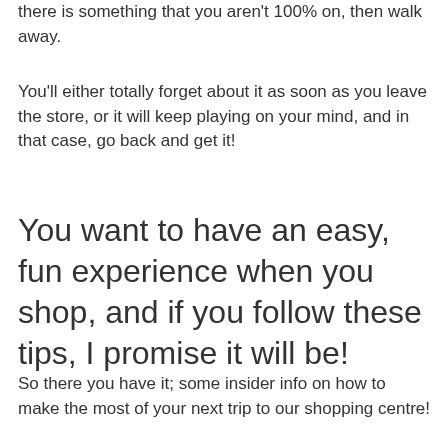there is something that you aren't 100% on, then walk away.
You'll either totally forget about it as soon as you leave the store, or it will keep playing on your mind, and in that case, go back and get it!
You want to have an easy, fun experience when you shop, and if you follow these tips, I promise it will be!
So there you have it; some insider info on how to make the most of your next trip to our shopping centre!